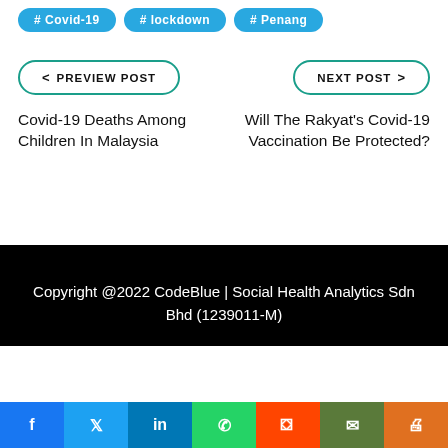#Covid-19
#lockdown
#Penang
< PREVIEW POST
NEXT POST >
Covid-19 Deaths Among Children In Malaysia
Will The Rakyat's Covid-19 Vaccination Be Protected?
Copyright @2022 CodeBlue | Social Health Analytics Sdn Bhd (1239011-M)
[Figure (other): Social sharing bar with icons for Facebook, Twitter, LinkedIn, WhatsApp, Reddit, Mail, and Print]